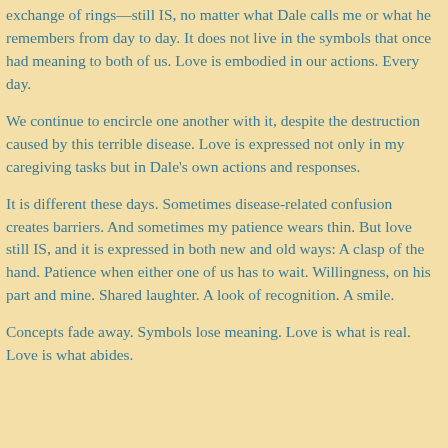exchange of rings—still IS, no matter what Dale calls me or what he remembers from day to day. It does not live in the symbols that once had meaning to both of us. Love is embodied in our actions. Every day.
We continue to encircle one another with it, despite the destruction caused by this terrible disease. Love is expressed not only in my caregiving tasks but in Dale's own actions and responses.
It is different these days. Sometimes disease-related confusion creates barriers. And sometimes my patience wears thin. But love still IS, and it is expressed in both new and old ways: A clasp of the hand. Patience when either one of us has to wait. Willingness, on his part and mine. Shared laughter. A look of recognition. A smile.
Concepts fade away. Symbols lose meaning. Love is what is real. Love is what abides.